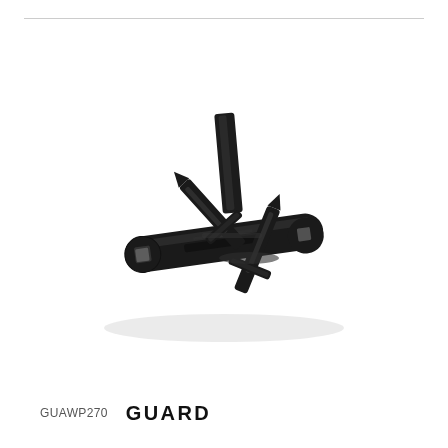[Figure (photo): Black cast metal guard component (GUAWP270) with two pointed prongs extending diagonally upward and a flat base plate with two square mounting holes, viewed from a slight angle.]
GUAWP270   GUARD